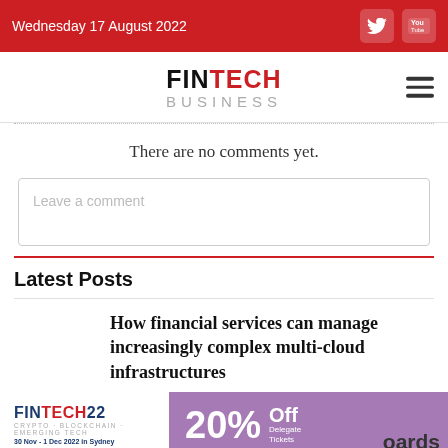Wednesday 17 August 2022
FINTECH BUSINESS
There are no comments yet.
Leave a comment
Latest Posts
How financial services can manage increasingly complex multi-cloud infrastructures
[Figure (infographic): FINTECH22 banner advertisement showing 20% Off Delegate Tickets, 30 Nov - 1 Dec 2022 in Sydney, with text 'boards']